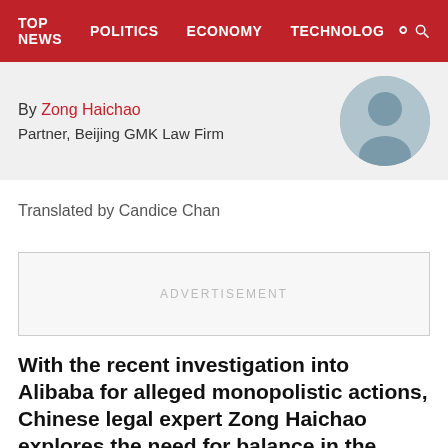TOP NEWS  POLITICS  ECONOMY  TECHNOLOG
By Zong Haichao
Partner, Beijing GMK Law Firm
Translated by Candice Chan
ADVERTISEMENT
With the recent investigation into Alibaba for alleged monopolistic actions, Chinese legal expert Zong Haichao explores the need for balance in the measures taken by the Chinese government to curb monopolies. While many expect 2021 to be “year one” of the anti-monopoly era, Zong cautions that there are